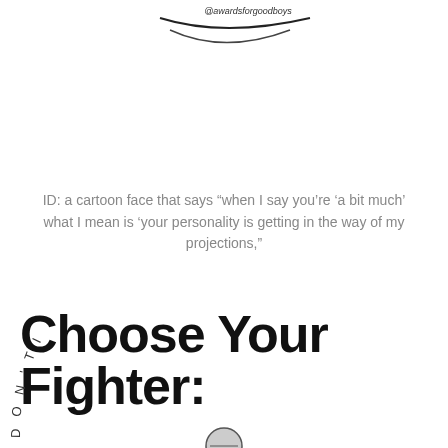[Figure (illustration): Partial cartoon illustration at top with '@awardsforgoodboys' handwritten text on a curved banner]
ID: a cartoon face that says “when I say you’re ‘a bit much’ what I mean is ‘your personality is getting in the way of my projections,”
Choose Your Fighter:
[Figure (illustration): Partial circular illustration at bottom with text reading 'DON'T INVITE ME TO YOUR TH...' arranged in an arc, with a cartoon figure visible at bottom]